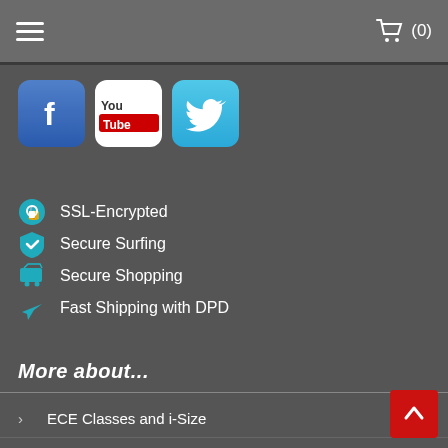≡  (0)
[Figure (logo): Facebook logo icon]
[Figure (logo): YouTube logo icon]
[Figure (logo): Twitter logo icon]
SSL-Encrypted
Secure Surfing
Secure Shopping
Fast Shipping with DPD
More about...
ECE Classes and i-Size
Manuals
Reclamation / Warrenty / Return
Environment and recycling